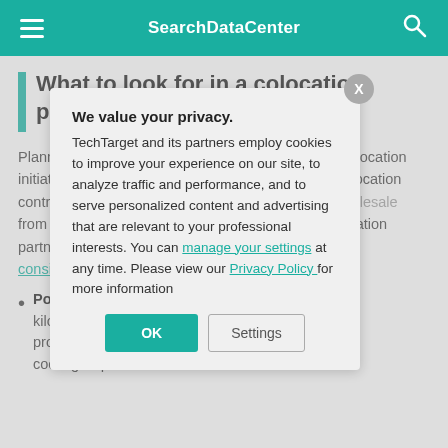SearchDataCenter
What to look for in a colocation provider
Planning and research are essential to successful colocation initiatives. The stakes can be high. A typical retail colocation contract can last from three to five years, while a w[holesale contract can last] from five to 15 y[ears. Choosing the wrong] devastating for b[usiness. To help find the right] colocation partn[er, determine what your] businesses dete[rmines criteria and] needs now and w[hat] considerations w[hen selecting a colocation provider] include the follo[wing:]
Power dens[ity — the amount of] kilowatts or e[lectrical power a colocation] provider can [supply, and what the] cooling requ[irements are]
We value your privacy. TechTarget and its partners employ cookies to improve your experience on our site, to analyze traffic and performance, and to serve personalized content and advertising that are relevant to your professional interests. You can manage your settings at any time. Please view our Privacy Policy for more information
OK
Settings